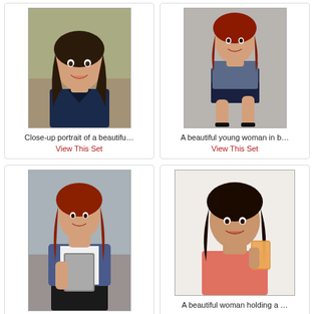[Figure (photo): Close-up portrait of a beautiful young woman with dark hair, smiling, wearing a dark top, outdoors background]
Close-up portrait of a beautifu…
View This Set
[Figure (photo): A beautiful young woman in blue outfit seated on steps, posing]
A beautiful young woman in b…
View This Set
[Figure (photo): A beautiful young woman holding a laptop/binder, red hair, wearing blue cardigan, standing outdoors]
A beautiful young woman hol…
View This Set
[Figure (photo): A beautiful woman holding a glass of juice, dark curly hair, wearing pink/coral top]
A beautiful woman holding a …
[Figure (photo): A teenage girl listening to music with headphones, eyes closed, pink headband]
[Figure (photo): A young woman with short blonde hair wearing red floral top and pearl necklace, serious expression]